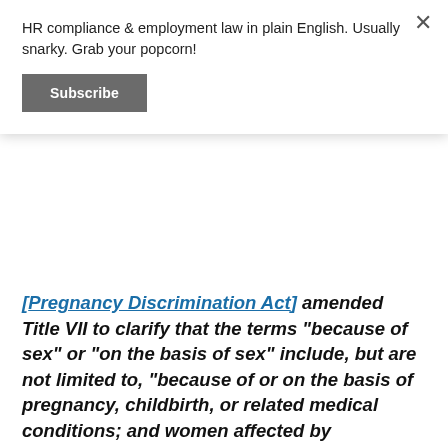HR compliance & employment law in plain English. Usually snarky. Grab your popcorn!
Subscribe
[Pregnancy Discrimination Act], amended Title VII to clarify that the terms “because of sex” or “on the basis of sex” include, but are not limited to, “because of or on the basis of pregnancy, childbirth, or related medical conditions; and women affected by pregnancy, childbirth, or related medical conditions shall be treated the same for all employment-related purposes. . . as other persons not so